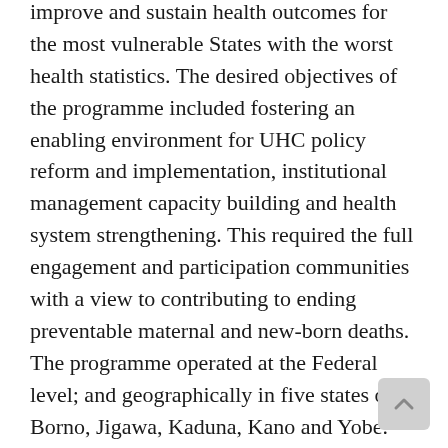improve and sustain health outcomes for the most vulnerable States with the worst health statistics. The desired objectives of the programme included fostering an enabling environment for UHC policy reform and implementation, institutional management capacity building and health system strengthening. This required the full engagement and participation communities with a view to contributing to ending preventable maternal and new-born deaths. The programme operated at the Federal level; and geographically in five states of – Borno, Jigawa, Kaduna, Kano and Yobe. Following the ODA cuts, from 0.7% to 0.5% and the spend review handrails, the FCDO reprioritisation and business planning exercise beginning in the last quarter of 2020 and first quarter of 2021 the programme had to scale down some key interventions and consider reviewing the